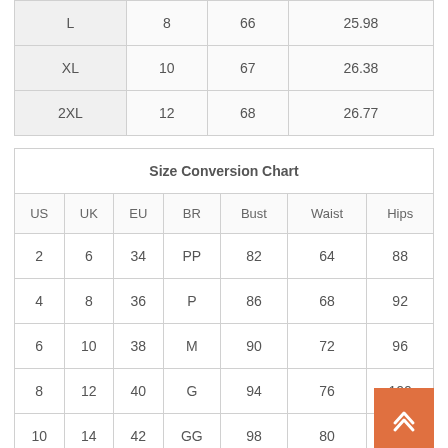| L | 8 | 66 | 25.98 |
| XL | 10 | 67 | 26.38 |
| 2XL | 12 | 68 | 26.77 |
| US | UK | EU | BR | Bust | Waist | Hips |
| --- | --- | --- | --- | --- | --- | --- |
| 2 | 6 | 34 | PP | 82 | 64 | 88 |
| 4 | 8 | 36 | P | 86 | 68 | 92 |
| 6 | 10 | 38 | M | 90 | 72 | 96 |
| 8 | 12 | 40 | G | 94 | 76 | 100 |
| 10 | 14 | 42 | GG | 98 | 80 | 104 |